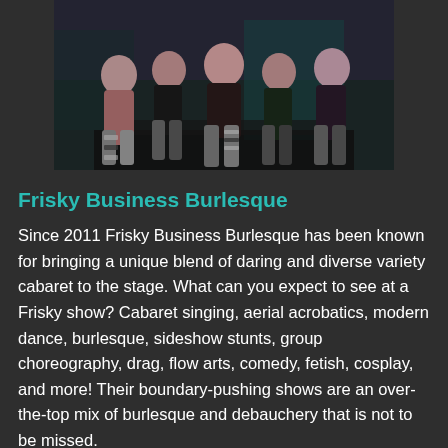[Figure (photo): Group photo of Frisky Business Burlesque performers posed together in costume, dark theatrical background]
Frisky Business Burlesque
Since 2011 Frisky Business Burlesque has been known for bringing a unique blend of daring and diverse variety cabaret to the stage. What can you expect to see at a Frisky show? Cabaret singing, aerial acrobatics, modern dance, burlesque, sideshow stunts, group choreography, drag, flow arts, comedy, fetish, cosplay, and more! Their boundary-pushing shows are an over-the-top mix of burlesque and debauchery that is not to be missed.
For a devilishly good time, you need to Get Frisky.